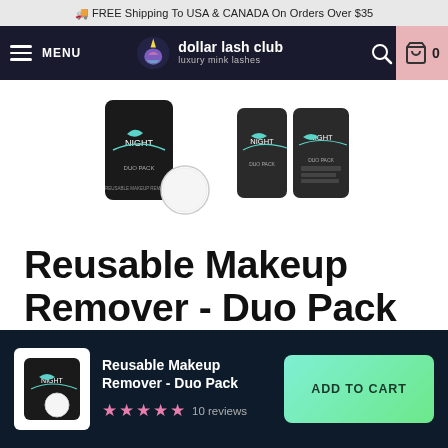🚚 FREE Shipping To USA & CANADA On Orders Over $35
[Figure (screenshot): Dollar Lash Club navigation bar with hamburger menu, unicorn logo, search icon and cart icon on dark navy background]
[Figure (photo): Two black product packages labeled NIGHT showing Reusable Makeup Remover Duo Pack with round cotton pad]
Reusable Makeup Remover - Duo Pack
[Figure (screenshot): Partial sticky bottom bar showing product thumbnail, title, 5-star rating with 10 reviews, and ADD TO CART button]
Reusable Makeup Remover - Duo Pack
★★★★★ 10 reviews
ADD TO CART